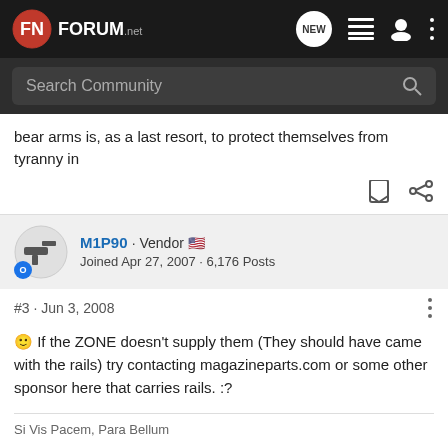[Figure (logo): FN Forum.net logo with navigation icons (NEW badge, list, user, menu dots)]
[Figure (screenshot): Search Community input bar with magnifying glass icon]
bear arms is, as a last resort, to protect themselves from tyranny in
[Figure (other): Bookmark and share icons]
[Figure (other): User avatar for M1P90 (gun silhouette icon with blue badge)]
M1P90 · Vendor 🇺🇸
Joined Apr 27, 2007 · 6,176 Posts
#3 · Jun 3, 2008
🙂 If the ZONE doesn't supply them (They should have came with the rails) try contacting magazineparts.com or some other sponsor here that carries rails. :?
Si Vis Pacem, Para Bellum